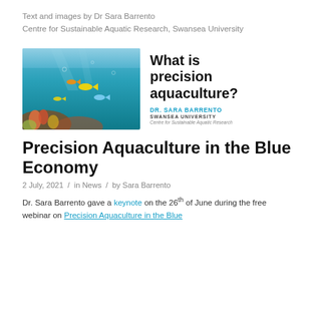Text and images by Dr Sara Barrento
Centre for Sustainable Aquatic Research, Swansea University
[Figure (illustration): Composite image showing an underwater fish/coral scene on the left, and on the right a title slide reading 'What is precision aquaculture?' by DR. SARA BARRENTO, SWANSEA UNIVERSITY, Centre for Sustainable Aquatic Research.]
Precision Aquaculture in the Blue Economy
2 July, 2021 / in News / by Sara Barrento
Dr. Sara Barrento gave a keynote on the 26th of June during the free webinar on Precision Aquaculture in the Blue Economy